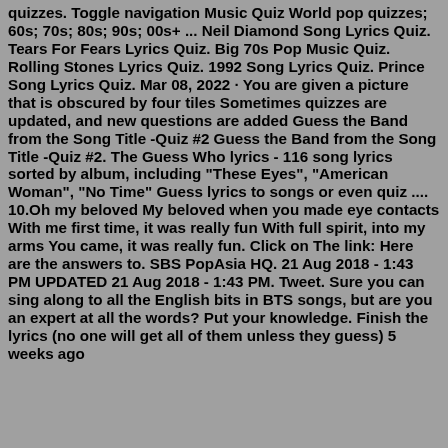quizzes. Toggle navigation Music Quiz World pop quizzes; 60s; 70s; 80s; 90s; 00s+ ... Neil Diamond Song Lyrics Quiz. Tears For Fears Lyrics Quiz. Big 70s Pop Music Quiz. Rolling Stones Lyrics Quiz. 1992 Song Lyrics Quiz. Prince Song Lyrics Quiz. Mar 08, 2022 · You are given a picture that is obscured by four tiles Sometimes quizzes are updated, and new questions are added Guess the Band from the Song Title -Quiz #2 Guess the Band from the Song Title -Quiz #2. The Guess Who lyrics - 116 song lyrics sorted by album, including "These Eyes", "American Woman", "No Time" Guess lyrics to songs or even quiz .... 10.Oh my beloved My beloved when you made eye contacts With me first time, it was really fun With full spirit, into my arms You came, it was really fun. Click on The link: Here are the answers to. SBS PopAsia HQ. 21 Aug 2018 - 1:43 PM UPDATED 21 Aug 2018 - 1:43 PM. Tweet. Sure you can sing along to all the English bits in BTS songs, but are you an expert at all the words? Put your knowledge. Finish the lyrics (no one will get all of them unless they guess) 5 weeks ago